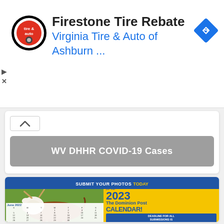[Figure (screenshot): Advertisement banner for Firestone Tire Rebate by Virginia Tire & Auto of Ashburn with logo and navigation icon]
Firestone Tire Rebate
Virginia Tire & Auto of Ashburn ...
[Figure (screenshot): WV DHHR COVID-19 Cases button/link in gray rounded rectangle]
WV DHHR COVID-19 Cases
[Figure (infographic): Submit Your Photos TODAY for the 2023 The Dominion Post CALENDAR! Deadline for all submissions is November 1st. Click here to upload. Shows a Hereford cow and calendar page for June 2022.]
SUBMIT YOUR PHOTOS TODAY for the 2023 The Dominion Post CALENDAR! DEADLINE FOR ALL SUBMISSIONS IS NOVEMBER 1ST CLICK HERE TO UPLOAD